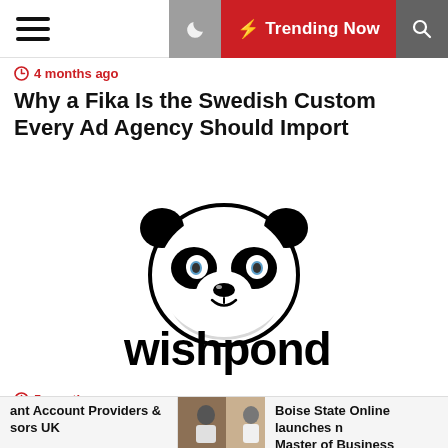Trending Now
4 months ago
Why a Fika Is the Swedish Custom Every Ad Agency Should Import
[Figure (logo): Wishpond logo: cartoon panda face with 'wishpond' text below in bold black sans-serif]
5 months ago
Wishpond's Brax Enhances Native Advertising Platform through Partnership with ROI
ant Account Providers & sors UK | Boise State Online launches Master of Business Administ